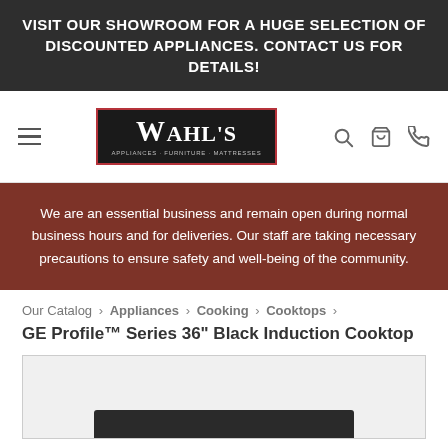VISIT OUR SHOWROOM FOR A HUGE SELECTION OF DISCOUNTED APPLIANCES. CONTACT US FOR DETAILS!
[Figure (logo): Wahl's Appliances Furniture Mattresses logo on dark background with red border]
We are an essential business and remain open during normal business hours and for deliveries. Our staff are taking necessary precautions to ensure safety and well-being of the community.
Our Catalog › Appliances › Cooking › Cooktops ›
GE Profile™ Series 36" Black Induction Cooktop
[Figure (photo): Product image area showing partial view of a black induction cooktop]